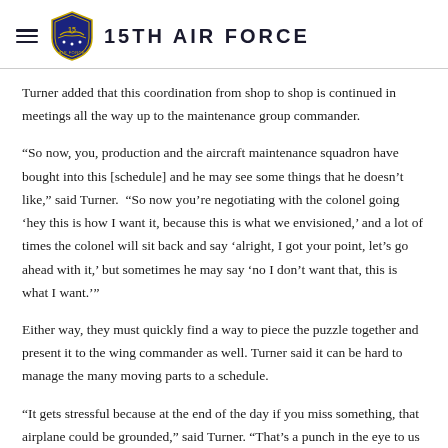15TH AIR FORCE
Turner added that this coordination from shop to shop is continued in meetings all the way up to the maintenance group commander.
“So now, you, production and the aircraft maintenance squadron have bought into this [schedule] and he may see some things that he doesn’t like,” said Turner.  “So now you’re negotiating with the colonel going ‘hey this is how I want it, because this is what we envisioned,’ and a lot of times the colonel will sit back and say ‘alright, I got your point, let’s go ahead with it,’ but sometimes he may say ‘no I don’t want that, this is what I want.’”
Either way, they must quickly find a way to piece the puzzle together and present it to the wing commander as well. Turner said it can be hard to manage the many moving parts to a schedule.
“It gets stressful because at the end of the day if you miss something, that airplane could be grounded,” said Turner. “That’s a punch in the eye to us as schedulers if we drop the ball like that and I’m up there explaining to the group